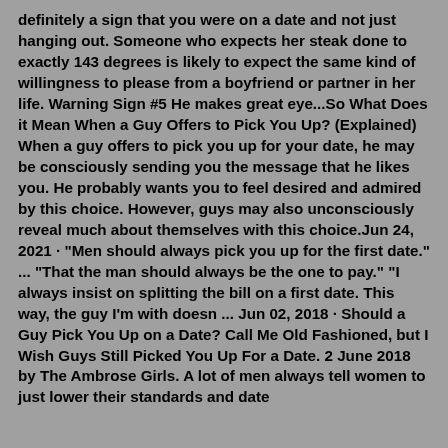definitely a sign that you were on a date and not just hanging out. Someone who expects her steak done to exactly 143 degrees is likely to expect the same kind of willingness to please from a boyfriend or partner in her life. Warning Sign #5 He makes great eye...So What Does it Mean When a Guy Offers to Pick You Up? (Explained) When a guy offers to pick you up for your date, he may be consciously sending you the message that he likes you. He probably wants you to feel desired and admired by this choice. However, guys may also unconsciously reveal much about themselves with this choice.Jun 24, 2021 · "Men should always pick you up for the first date." ... "That the man should always be the one to pay." "I always insist on splitting the bill on a first date. This way, the guy I'm with doesn ... Jun 02, 2018 · Should a Guy Pick You Up on a Date? Call Me Old Fashioned, but I Wish Guys Still Picked You Up For a Date. 2 June 2018 by The Ambrose Girls. A lot of men always tell women to just lower their standards and date someone who pays attention. The thought behind this is...